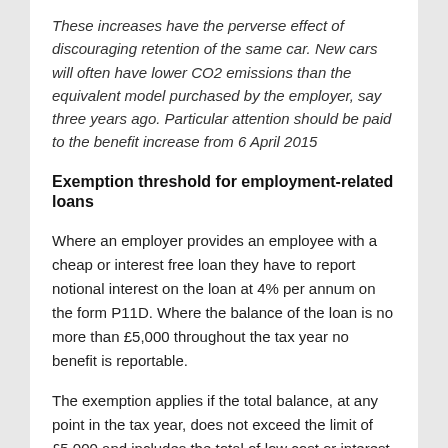These increases have the perverse effect of discouraging retention of the same car. New cars will often have lower CO2 emissions than the equivalent model purchased by the employer, say three years ago. Particular attention should be paid to the benefit increase from 6 April 2015
Exemption threshold for employment-related loans
Where an employer provides an employee with a cheap or interest free loan they have to report notional interest on the loan at 4% per annum on the form P11D. Where the balance of the loan is no more than £5,000 throughout the tax year no benefit is reportable.
The exemption applies if the total balance, at any point in the tax year, does not exceed the limit of £5,000 and includes the total of low cost or interest free loans, or notional loans arising from the provision of employment-related securities.
From 6 April 2014 where the total outstanding balances on all such loans do not exceed £10,000 at any time in the tax year,